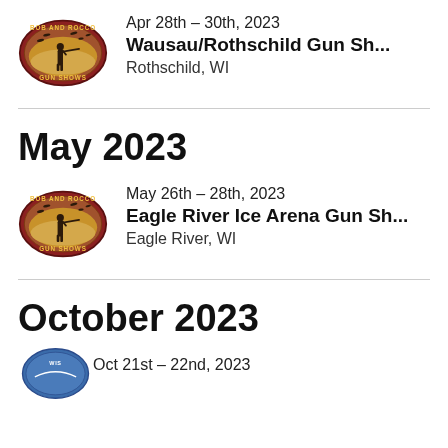[Figure (logo): Bob and Rocco Gun Shows oval logo with hunter silhouette]
Apr 28th – 30th, 2023
Wausau/Rothschild Gun Sh...
Rothschild, WI
May 2023
[Figure (logo): Bob and Rocco Gun Shows oval logo with hunter silhouette]
May 26th – 28th, 2023
Eagle River Ice Arena Gun Sh...
Eagle River, WI
October 2023
[Figure (logo): Partial logo at bottom of page]
Oct 21st – 22nd, 2023